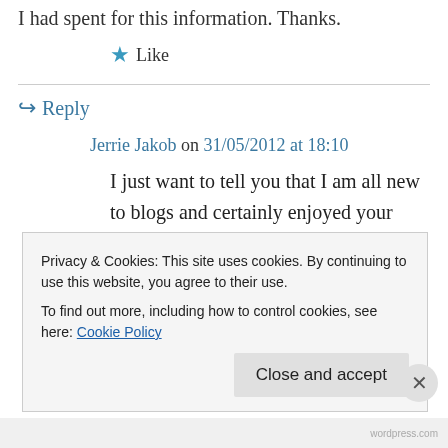I had spent for this information. Thanks.
★ Like
↪ Reply
Jerrie Jakob on 31/05/2012 at 18:10
I just want to tell you that I am all new to blogs and certainly enjoyed your web-site. Most likely I'm going to bookmark your site . You surely have perfect stories. Thank you for revealing your website.
Privacy & Cookies: This site uses cookies. By continuing to use this website, you agree to their use.
To find out more, including how to control cookies, see here: Cookie Policy
Close and accept